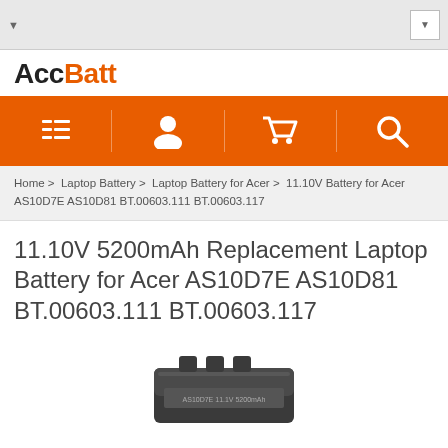AccBatt
[Figure (screenshot): Orange navigation bar with four icons: list/menu icon, user/person icon, shopping cart icon, and search/magnifier icon]
Home > Laptop Battery > Laptop Battery for Acer > 11.10V Battery for Acer AS10D7E AS10D81 BT.00603.111 BT.00603.117
11.10V 5200mAh Replacement Laptop Battery for Acer AS10D7E AS10D81 BT.00603.111 BT.00603.117
[Figure (photo): Laptop battery product photo - dark grey/black rectangular laptop battery pack]